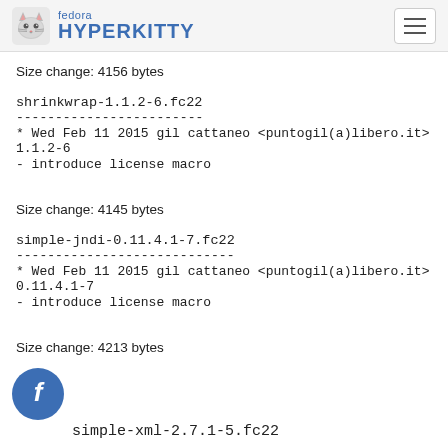fedora HYPERKITTY
Size change: 4156 bytes
shrinkwrap-1.1.2-6.fc22
------------------------
* Wed Feb 11 2015 gil cattaneo <puntogil(a)libero.it&gt; 1.1.2-6
- introduce license macro
Size change: 4145 bytes
simple-jndi-0.11.4.1-7.fc22
----------------------------
* Wed Feb 11 2015 gil cattaneo <puntogil(a)libero.it&gt; 0.11.4.1-7
- introduce license macro
Size change: 4213 bytes
simple-xml-2.7.1-5.fc22